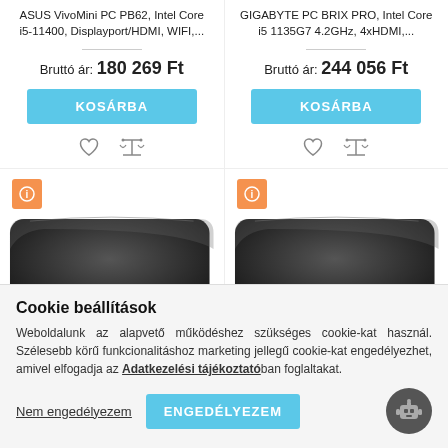ASUS VivoMini PC PB62, Intel Core i5-11400, Displayport/HDMI, WIFI,...
GIGABYTE PC BRIX PRO, Intel Core i5 1135G7 4.2GHz, 4xHDMI,...
Bruttó ár: 180 269 Ft
Bruttó ár: 244 056 Ft
KOSÁRBA
KOSÁRBA
[Figure (screenshot): Two mini PC product listings (ASUS and GIGABYTE) with prices, add-to-cart buttons, and product images, overlaid by a cookie consent banner]
Cookie beállítások
Weboldalunk az alapvető működéshez szükséges cookie-kat használ. Szélesebb körű funkcionalitáshoz marketing jellegű cookie-kat engedélyezhet, amivel elfogadja az Adatkezelési tájékoztatóban foglaltakat.
Nem engedélyezem
ENGEDÉLYEZEM